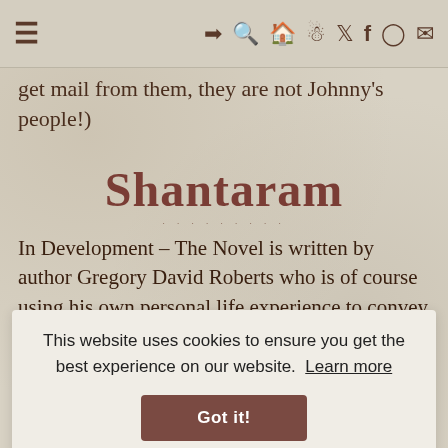≡  ➔ 🔍 🏠 ☰ 🐦 f 📷 ✉
get mail from them, they are not Johnny's people!)
Shantaram
In Development – The Novel is written by author Gregory David Roberts who is of course using his own personal life experience to convey this story to the reader and now
This website uses cookies to ensure you get the best experience on our website.  Learn more
Got it!
robbery career to support his addiction. He